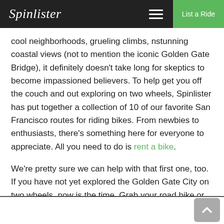Spinlister | List a Ride
cool neighborhoods, grueling climbs, nstunning coastal views (not to mention the iconic Golden Gate Bridge), it definitely doesn't take long for skeptics to become impassioned believers. To help get you off the couch and out exploring on two wheels, Spinlister has put together a collection of 10 of our favorite San Francisco routes for riding bikes. From newbies to enthusiasts, there's something here for everyone to appreciate. All you need to do is rent a bike.
We're pretty sure we can help with that first one, too. If you have not yet explored the Golden Gate City on two wheels, now is the time. Grab your road bike or snag a mountain bike from one of our San Francisco online rentals and find out what you've been missing.